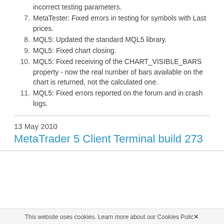incorrect testing parameters.
7. MetaTester: Fixed errors in testing for symbols with Last prices.
8. MQL5: Updated the standard MQL5 library.
9. MQL5: Fixed chart closing.
10. MQL5: Fixed receiving of the CHART_VISIBLE_BARS property - now the real number of bars available on the chart is returned, not the calculated one.
11. MQL5: Fixed errors reported on the forum and in crash logs.
13 May 2010
MetaTrader 5 Client Terminal build 273
This website uses cookies. Learn more about our Cookies Policy ×